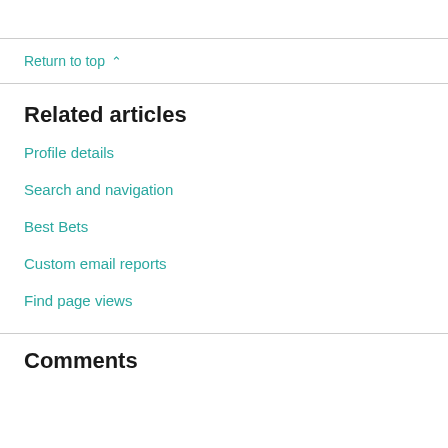Return to top ^
Related articles
Profile details
Search and navigation
Best Bets
Custom email reports
Find page views
Comments